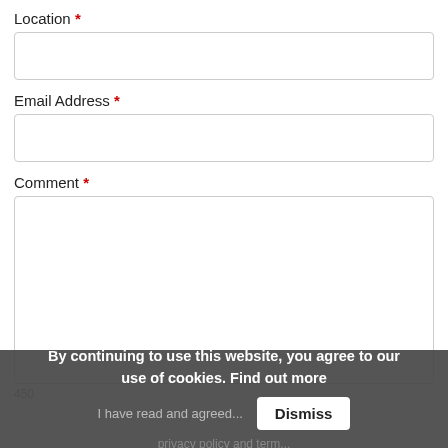Location *
Email Address *
Comment *
450
By continuing to use this website, you agree to our use of cookies. Find out more
Dismiss
I have read and agreed...
privacy policy and term...